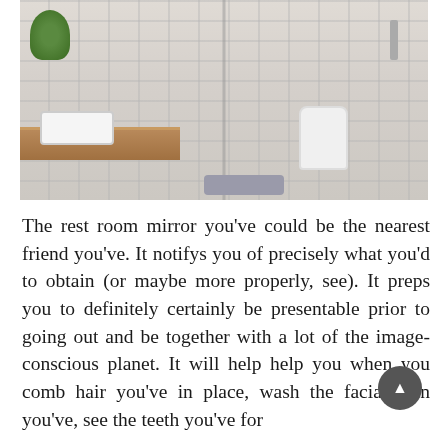[Figure (photo): Modern bathroom interior showing a wooden counter with white sink, green plants, gray towels, a glass partition, wall-mounted toilet and bidet, white subway tile walls, shower head, and a gray bath mat on light tile floor.]
The rest room mirror you've could be the nearest friend you've. It notifys you of precisely what you'd to obtain (or maybe more properly, see). It preps you to definitely certainly be presentable prior to going out and be together with a lot of the image-conscious planet. It will help help you when you comb hair you've in place, wash the facial skin you've, see the teeth you've for